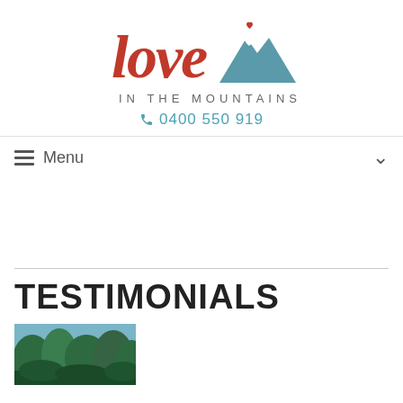[Figure (logo): Love in the Mountains logo — cursive red 'love' text with teal mountain silhouette and white heart, plus 'IN THE MOUNTAINS' in spaced grey capitals below]
📞 0400 550 919
≡ Menu
TESTIMONIALS
[Figure (photo): Thumbnail of an outdoor nature/forest scene]